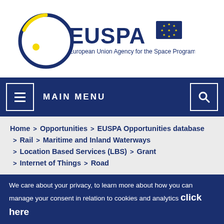[Figure (logo): EUSPA logo — European Union Agency for the Space Programme, with circular blue/yellow graphic and EU flag]
MAIN MENU (navigation bar with hamburger menu and search icon)
Home > Opportunities > EUSPA Opportunities database > Rail > Maritime and Inland Waterways > Location Based Services (LBS) > Grant > Internet of Things > Road
We care about your privacy, to learn more about how you can manage your consent in relation to cookies and analytics click here